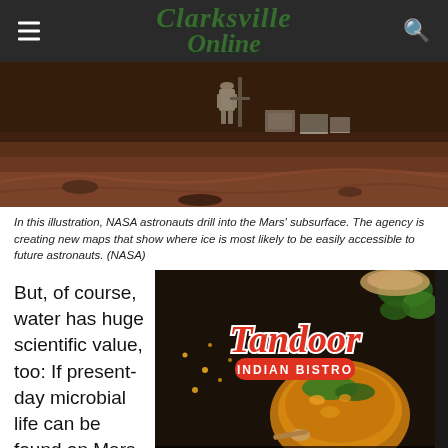Clarksville Online
[Figure (photo): NASA illustration of astronauts drilling into the Mars subsurface on a rocky, reddish-brown terrain]
In this illustration, NASA astronauts drill into the Mars' subsurface. The agency is creating new maps that show where ice is most likely to be easily accessible to future astronauts. (NASA)
But, of course, water has huge scientific value, too: If present-day microbial life can be found on Mars, it
[Figure (photo): Advertisement for Tandoor Indian Bistro showing a bowl of Indian food with text 'Pamper Your Taste Buds']